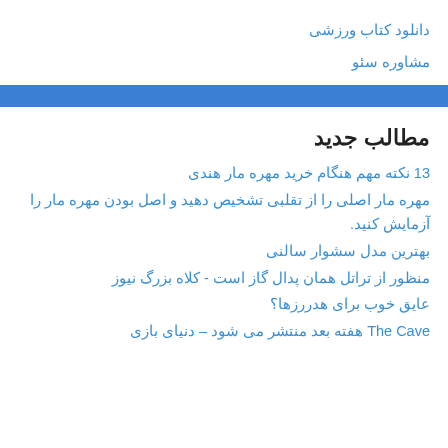دانلود کتاب ورزشی
مشاوره سئو
مطالب جدید
13 نکته مهم هنگام خرید مهره مار هندی
مهره مار اصلی را از تقلبی تشخیص دهید و اصل بودن مهره مار را آزمایش کنید.
بهترین مدل سشوار سالنی
منظور از تراتل همان پدال گاز است - کلاه بزرگ نیوز
عایق خوب برای هدررزها؟
The Cave هفته بعد منتشر می شود – دنیای بازی